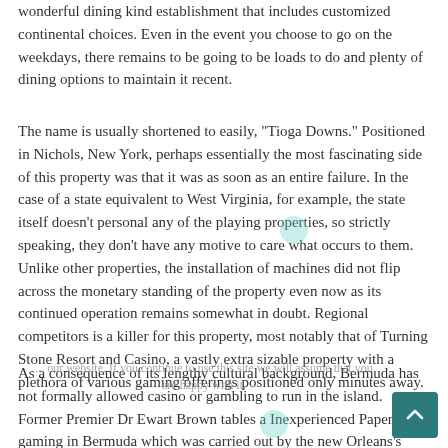wonderful dining kind establishment that includes customized continental choices. Even in the event you choose to go on the weekdays, there remains to be going to be loads to do and plenty of dining options to maintain it recent.
The name is usually shortened to easily, "Tioga Downs." Positioned in Nichols, New York, perhaps essentially the most fascinating side of this property was that it was as soon as an entire failure. In the case of a state equivalent to West Virginia, for example, the state itself doesn't personal any of the playing properties, so strictly speaking, they don't have any motive to care what occurs to them. Unlike other properties, the installation of machines did not flip across the monetary standing of the property even now as its continued operation remains somewhat in doubt. Regional competitors is a killer for this property, most notably that of Turning Stone Resort and Casino, a vastly extra sizable property with a plethora of various gaming offerings positioned only minutes away.
As a consequence of its lengthy cultural background, Bermuda has not formally allowed casino or gambling to run in the island. Former Premier Dr Ewart Brown tables a Inexperienced Paper on gaming in Bermuda which was carried out by the new Orleans's primarily based